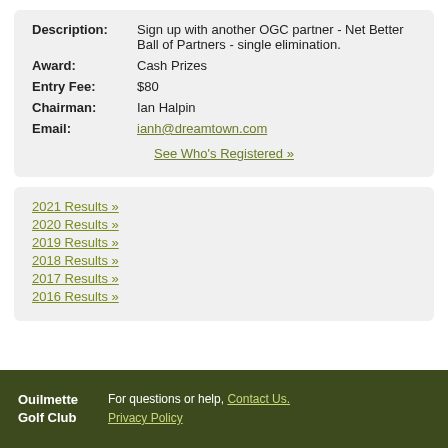Description: Sign up with another OGC partner - Net Better Ball of Partners - single elimination.
Award: Cash Prizes
Entry Fee: $80
Chairman: Ian Halpin
Email: ianh@dreamtown.com
See Who's Registered »
2021 Results »
2020 Results »
2019 Results »
2018 Results »
2017 Results »
2016 Results »
Ouilmette Golf Club   For questions or help, Contact Us. Privacy Policy